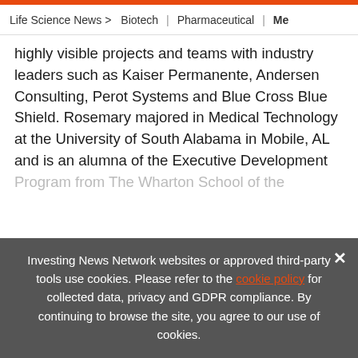Life Science News > Biotech | Pharmaceutical | Me
highly visible projects and teams with industry leaders such as Kaiser Permanente, Andersen Consulting, Perot Systems and Blue Cross Blue Shield. Rosemary majored in Medical Technology at the University of South Alabama in Mobile, AL and is an alumna of the Executive Development Program from The Wharton School of the Univ
[Figure (infographic): Advertisement banner: EXCLUSIVE 2022 BIOTECH OUTLOOK REPORT. TRENDS. FORECASTS. TOP STOCKS. with orange arrow button and orange vertical bar.]
Investing News Network websites or approved third-party tools use cookies. Please refer to the cookie policy for collected data, privacy and GDPR compliance. By continuing to browse the site, you agree to our use of cookies.